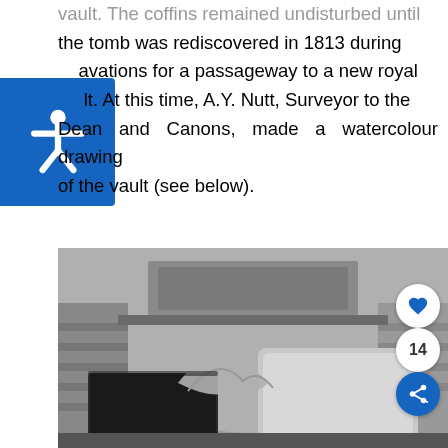vault. The coffins remained undisturbed until the tomb was rediscovered in 1813 during excavations for a passageway to a new royal vault. At this time, A.Y. Nutt, Surveyor to the Dean and Canons, made a watercolour drawing of the vault (see below).
[Figure (illustration): A black and white watercolour drawing showing the interior of a royal vault with coffins and architectural details including a vaulted ceiling]